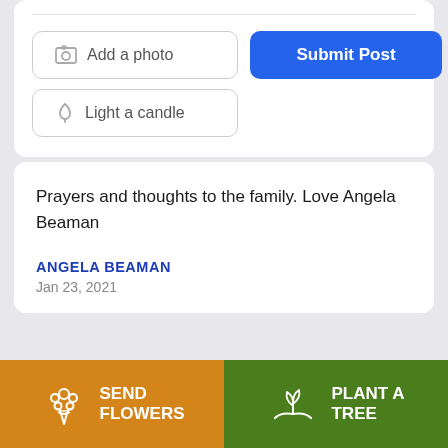[Figure (screenshot): UI buttons: 'Add a photo' and 'Light a candle' outline buttons, and a blue 'Submit Post' button]
Prayers and thoughts to the family. Love Angela Beaman
ANGELA BEAMAN
Jan 23, 2021
[Figure (illustration): Orange 'Send Flowers' button with flower bouquet icon and green 'Plant a Tree' button with seedling icon]